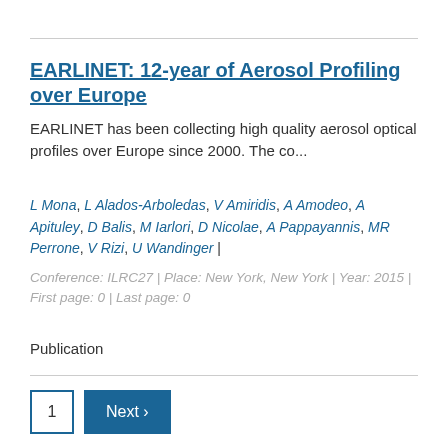EARLINET: 12-year of Aerosol Profiling over Europe
EARLINET has been collecting high quality aerosol optical profiles over Europe since 2000. The co...
L Mona, L Alados-Arboledas, V Amiridis, A Amodeo, A Apituley, D Balis, M Iarlori, D Nicolae, A Pappayannis, MR Perrone, V Rizi, U Wandinger |
Conference: ILRC27 | Place: New York, New York | Year: 2015 | First page: 0 | Last page: 0
Publication